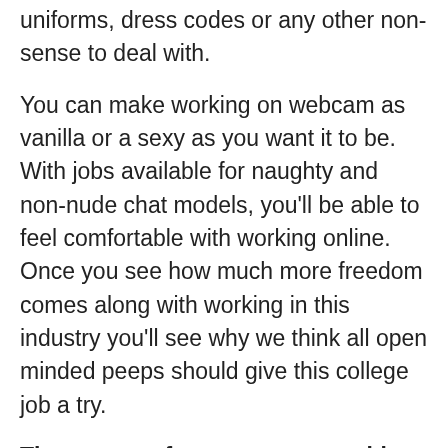uniforms, dress codes or any other non-sense to deal with.
You can make working on webcam as vanilla or a sexy as you want it to be. With jobs available for naughty and non-nude chat models, you'll be able to feel comfortable with working online. Once you see how much more freedom comes along with working in this industry you'll see why we think all open minded peeps should give this college job a try.
There are no fees, costs or anything to do this either. It's free to do and pays tremendously for those that have fun with it